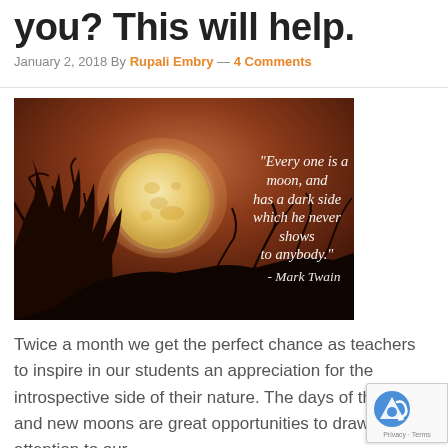you? This will help.
January 2, 2018 By Rupali Embry — 4 Comments
[Figure (photo): Night sky photo with a full moon over silhouetted tree branches. Text overlay in white italic script reads: "Every one is a moon, and has a dark side which he never shows to anybody." - Mark Twain]
Twice a month we get the perfect chance as teachers to inspire in our students an appreciation for the introspective side of their nature. The days of the full and new moons are great opportunities to draw attention to our